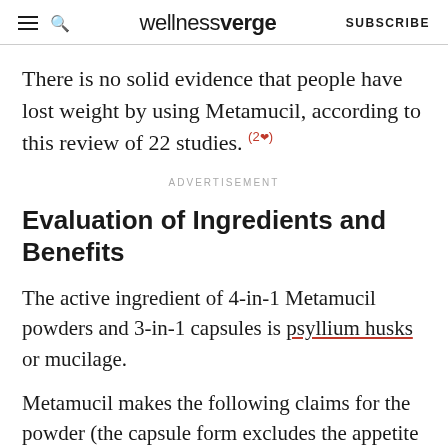wellnessverge | SUBSCRIBE
There is no solid evidence that people have lost weight by using Metamucil, according to this review of 22 studies. (2)
ADVERTISEMENT
Evaluation of Ingredients and Benefits
The active ingredient of 4-in-1 Metamucil powders and 3-in-1 capsules is psyllium husks or mucilage.
Metamucil makes the following claims for the powder (the capsule form excludes the appetite